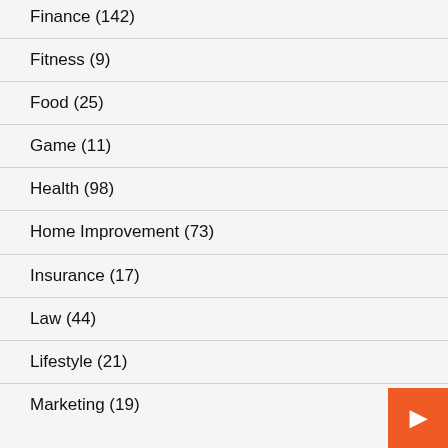Finance (142)
Fitness (9)
Food (25)
Game (11)
Health (98)
Home Improvement (73)
Insurance (17)
Law (44)
Lifestyle (21)
Marketing (19)